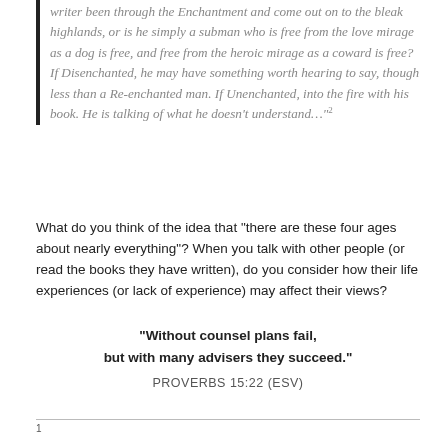writer been through the Enchantment and come out on to the bleak highlands, or is he simply a subman who is free from the love mirage as a dog is free, and free from the heroic mirage as a coward is free? If Disenchanted, he may have something worth hearing to say, though less than a Re-enchanted man. If Unenchanted, into the fire with his book. He is talking of what he doesn't understand…”²
What do you think of the idea that “there are these four ages about nearly everything”? When you talk with other people (or read the books they have written), do you consider how their life experiences (or lack of experience) may affect their views?
“Without counsel plans fail, but with many advisers they succeed.”
PROVERBS 15:22 (ESV)
1